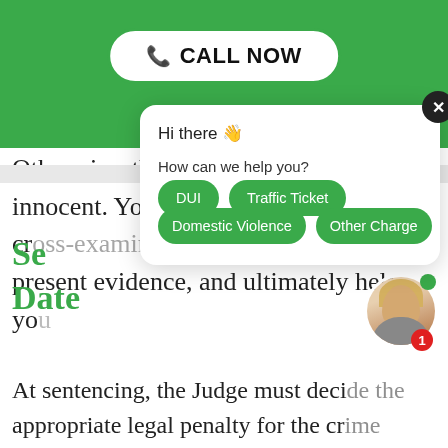[Figure (screenshot): Green header bar with 'CALL NOW' button in white rounded rectangle]
Otherwise, the jury must find you innocent. Your attorney will be able to cross-examine witnesses, present evidence, and ultimately help you
[Figure (screenshot): Chat popup overlay with close button, 'Hi there 👋' greeting, 'How can we help you?' prompt, and four green pill buttons: DUI, Traffic Ticket, Domestic Violence, Other Charge]
Se...
Date
At sentencing, the Judge must decide the appropriate legal penalty for the crime...